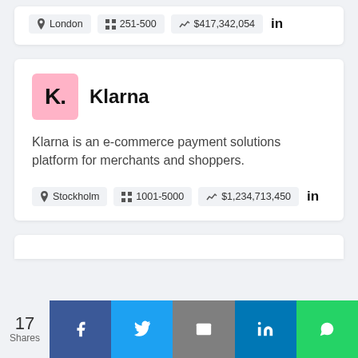London | 251-500 | $417,342,054 | in
Klarna
Klarna is an e-commerce payment solutions platform for merchants and shoppers.
Stockholm | 1001-5000 | $1,234,713,450 | in
17 Shares